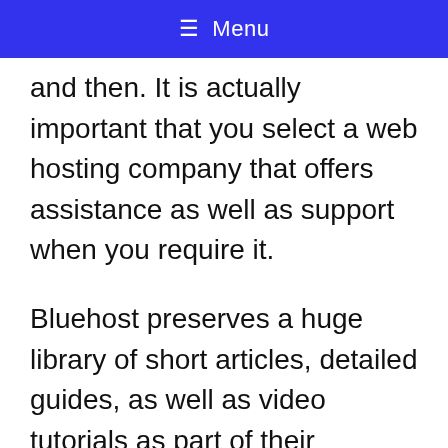≡ Menu
and then. It is actually important that you select a web hosting company that offers assistance as well as support when you require it.
Bluehost preserves a huge library of short articles, detailed guides, as well as video tutorials as part of their substantial knowledge base. This is a huge assistance for newbies as well as most typical concerns can be rapidly